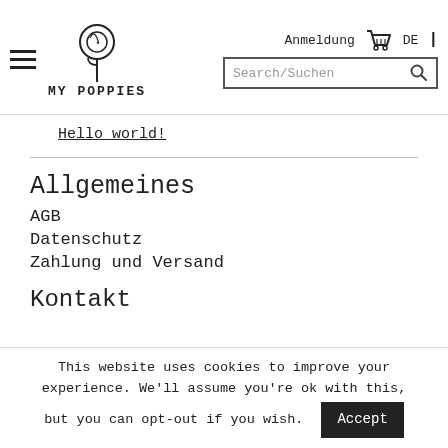MY POPPIES — Anmeldung DE — Search/Suchen
Hello world!
Allgemeines
AGB
Datenschutz
Zahlung und Versand
Kontakt
This website uses cookies to improve your experience. We'll assume you're ok with this, but you can opt-out if you wish.